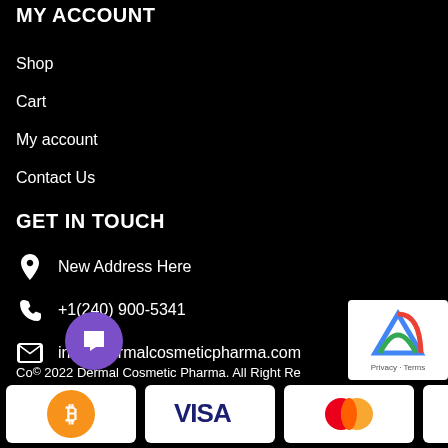MY ACCOUNT
Shop
Cart
My account
Contact Us
GET IN TOUCH
New Address Here
+1(240) 900-5341
info@dermalcosmeticpharma.com
+38063754910 75
Co© 2022 Dermal Cosmetic Pharma. All Right Re
[Figure (infographic): Payment method icons: Bitcoin, Visa, MasterCard, PayPal, Skrill, Maestro Electron]